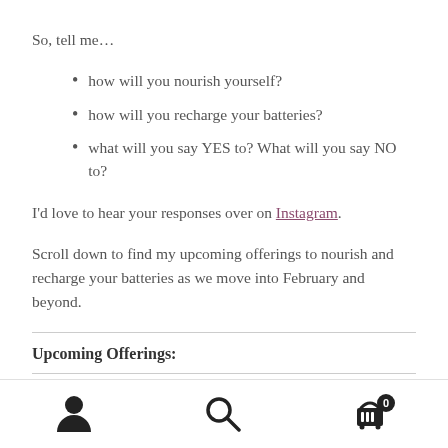So, tell me…
how will you nourish yourself?
how will you recharge your batteries?
what will you say YES to? What will you say NO to?
I'd love to hear your responses over on Instagram.
Scroll down to find my upcoming offerings to nourish and recharge your batteries as we move into February and beyond.
Upcoming Offerings:
navigation icons: user, search, cart (0)